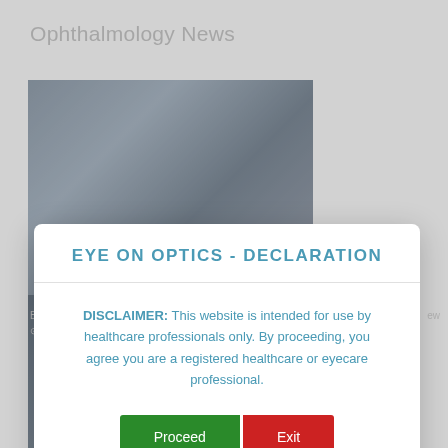Ophthalmology News
[Figure (photo): Background photo of people at computer workstations in a dimly lit environment]
[Figure (photo): Background photo of medical professionals performing an eye examination with equipment]
EYE ON OPTICS - DECLARATION
DISCLAIMER: This website is intended for use by healthcare professionals only. By proceeding, you agree you are a registered healthcare or eyecare professional.
Proceed
Exit